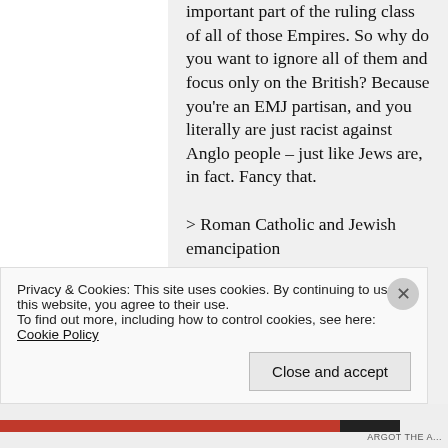important part of the ruling class of all of those Empires. So why do you want to ignore all of them and focus only on the British? Because you're an EMJ partisan, and you literally are just racist against Anglo people – just like Jews are, in fact. Fancy that.
> Roman Catholic and Jewish emancipation
Privacy & Cookies: This site uses cookies. By continuing to use this website, you agree to their use. To find out more, including how to control cookies, see here: Cookie Policy